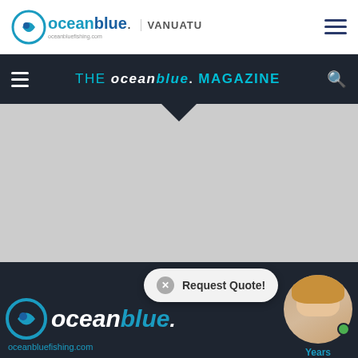oceanblue. VANUATU
THE oceanblue. MAGAZINE
[Figure (screenshot): Gray placeholder content area below the magazine navigation bar, with a downward pointing dark caret/arrow at the top center.]
[Figure (logo): Ocean Blue logo with circular icon, 'ocean' in white italic bold and 'blue' in cyan/teal italic bold, with 'oceanbluefishing.com' below in cyan.]
[Figure (other): Request Quote chat bubble with X close button, overlaid on the bottom section. A woman's profile photo/avatar is shown at the bottom right with 'Years' label in cyan.]